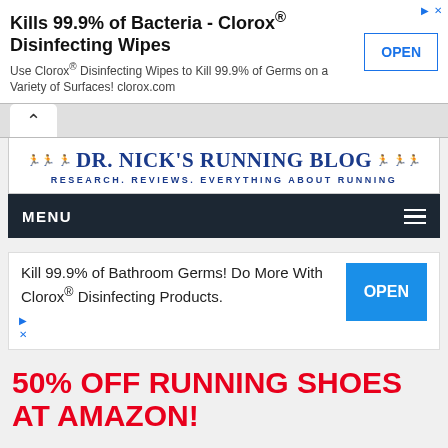[Figure (screenshot): Top advertisement banner: Kills 99.9% of Bacteria - Clorox® Disinfecting Wipes with OPEN button]
Kills 99.9% of Bacteria - Clorox® Disinfecting Wipes
Use Clorox® Disinfecting Wipes to Kill 99.9% of Germs on a Variety of Surfaces! clorox.com
[Figure (logo): Dr. Nick's Running Blog header banner with runner icons and subtitle: Research. Reviews. Everything About Running.]
MENU
[Figure (screenshot): Second advertisement: Kill 99.9% of Bathroom Germs! Do More With Clorox® Disinfecting Products. with OPEN button]
50% OFF RUNNING SHOES AT AMAZON!